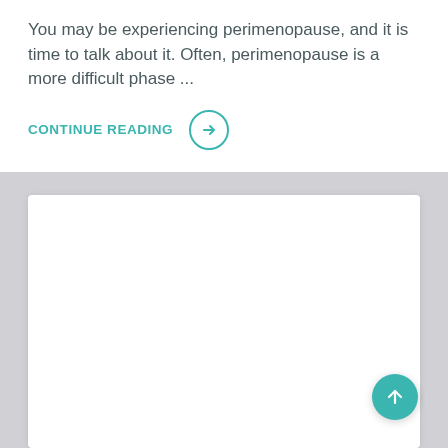You may be experiencing perimenopause, and it is time to talk about it. Often, perimenopause is a more difficult phase ...
CONTINUE READING →
[Figure (other): White card section (empty content area below the article preview)]
[Figure (other): Teal circular floating action button with upward arrow in bottom right corner]